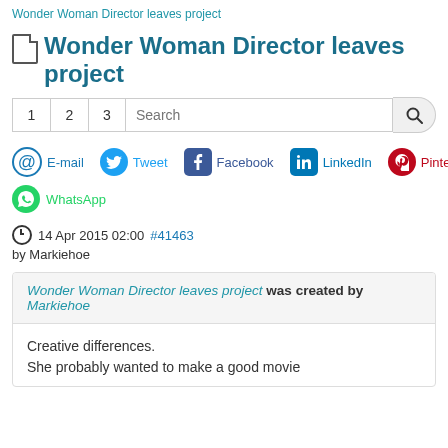Wonder Woman Director leaves project
Wonder Woman Director leaves project
1  2  3  Search
E-mail  Tweet  Facebook  LinkedIn  Pinterest
WhatsApp
14 Apr 2015 02:00 #41463
by Markiehoe
Wonder Woman Director leaves project was created by Markiehoe
Creative differences.
She probably wanted to make a good movie